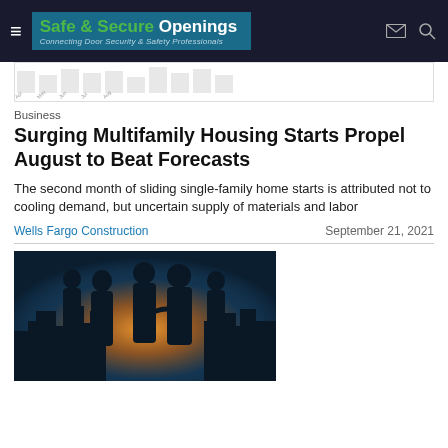Safe & Secure Openings — Connecting Door Security & Safety Professionals
[Figure (other): Partial chart strip visible at top of page showing bar/line chart with date axis labels]
Business
Surging Multifamily Housing Starts Propel August to Beat Forecasts
The second month of sliding single-family home starts is attributed not to cooling demand, but uncertain supply of materials and labor
Wells Fargo Construction
September 21, 2021
[Figure (photo): Silhouettes of business people shaking hands with city skyline in background, warm backlit glow]